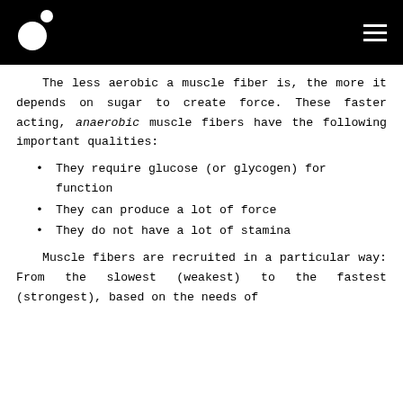[Logo and navigation header]
The less aerobic a muscle fiber is, the more it depends on sugar to create force. These faster acting, anaerobic muscle fibers have the following important qualities:
They require glucose (or glycogen) for function
They can produce a lot of force
They do not have a lot of stamina
Muscle fibers are recruited in a particular way: From the slowest (weakest) to the fastest (strongest), based on the needs of